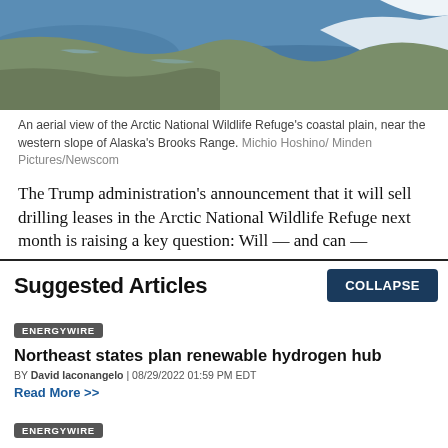[Figure (photo): Aerial view of Arctic coastal plain with water and snow-capped terrain]
An aerial view of the Arctic National Wildlife Refuge's coastal plain, near the western slope of Alaska's Brooks Range. Michio Hoshino/ Minden Pictures/Newscom
The Trump administration's announcement that it will sell drilling leases in the Arctic National Wildlife Refuge next month is raising a key question: Will — and can —
Suggested Articles
COLLAPSE
ENERGYWIRE
Northeast states plan renewable hydrogen hub
BY David Iaconangelo | 08/29/2022 01:59 PM EDT
Read More >>
ENERGYWIRE
Trouble on pipeline's path hits home for Manchin